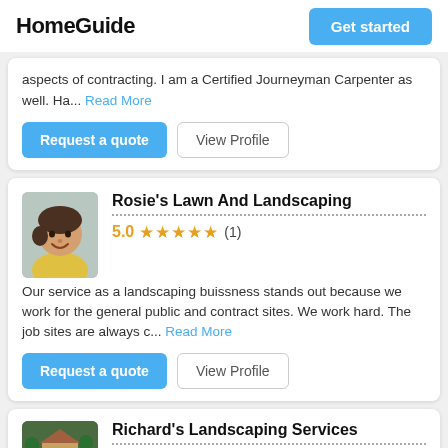HomeGuide | Get started
aspects of contracting. I am a Certified Journeyman Carpenter as well. Ha... Read More
Request a quote | View Profile
Rosie's Lawn And Landscaping
5.0 ★★★★★ (1)
Our service as a landscaping buissness stands out because we work for the general public and contract sites. We work hard. The job sites are always c... Read More
Request a quote | View Profile
Richard's Landscaping Services